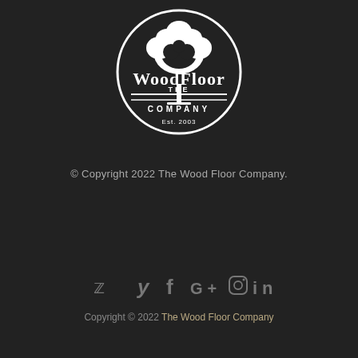[Figure (logo): The Wood Floor Company circular logo with tree illustration, established 2003]
© Copyright 2022 The Wood Floor Company.
[Figure (infographic): Social media icons: Twitter, Facebook, Google+, Instagram, LinkedIn]
Copyright © 2022 The Wood Floor Company